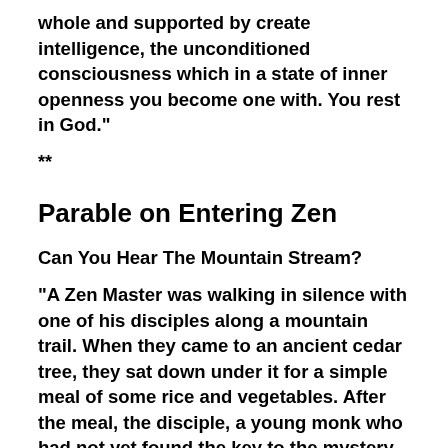whole and supported by create intelligence, the unconditioned consciousness which in a state of inner openness you become one with. You rest in God.”
**
Parable on Entering Zen
Can You Hear The Mountain Stream?
“A Zen Master was walking in silence with one of his disciples along a mountain trail. When they came to an ancient cedar tree, they sat down under it for a simple meal of some rice and vegetables. After the meal, the disciple, a young monk who had not yet found the key to the mystery of Zen, broke the silence